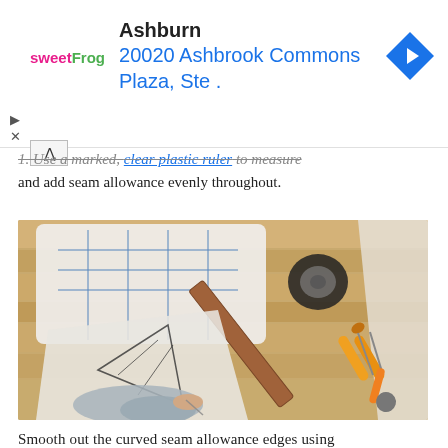[Figure (other): Advertisement banner for sweetFrog showing Ashburn location at 20020 Ashbrook Commons Plaza, Ste. with a blue navigation diamond icon and collapse controls.]
1. Use a marked, clear plastic ruler to measure and add seam allowance evenly throughout.
[Figure (photo): Overhead photo of a person's hands using a wooden ruler and scissors to cut or mark a sewing pattern on fabric/tracing paper, spread on a light wood table top. A roll of black tape and orange-handled scissors are also visible.]
Smooth out the curved seam allowance edges using